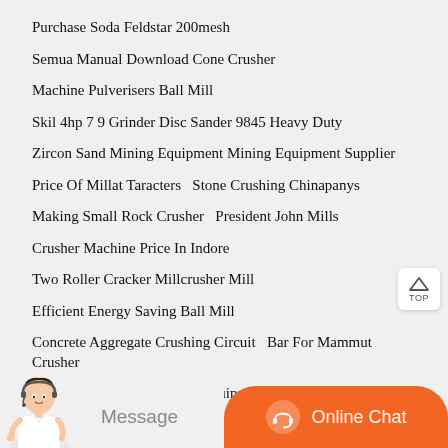Purchase Soda Feldstar 200mesh
Semua Manual Download Cone Crusher
Machine Pulverisers Ball Mill
Skil 4hp 7 9 Grinder Disc Sander 9845 Heavy Duty
Zircon Sand Mining Equipment Mining Equipment Supplier
Price Of Millat Taracters   Stone Crushing Chinapanys
Making Small Rock Crusher   President John Mills
Crusher Machine Price In Indore
Two Roller Cracker Millcrusher Mill
Efficient Energy Saving Ball Mill
Concrete Aggregate Crushing Circuit   Bar For Mammut Crusher
Miningused Rock Crushing Equipment Iceland Mining Equipment For Iron Sand
Of Clinker In Ball Mill